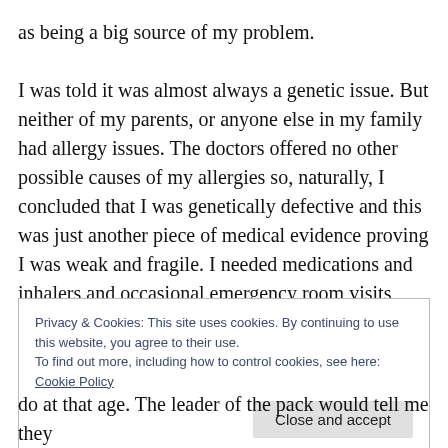as being a big source of my problem.

I was told it was almost always a genetic issue. But neither of my parents, or anyone else in my family had allergy issues. The doctors offered no other possible causes of my allergies so, naturally, I concluded that I was genetically defective and this was just another piece of medical evidence proving I was weak and fragile. I needed medications and inhalers and occasional emergency room visits because my body wasn't strong enough to survive in this world on its own.
Privacy & Cookies: This site uses cookies. By continuing to use this website, you agree to their use.
To find out more, including how to control cookies, see here: Cookie Policy
Close and accept
do at that age. The leader of the pack would tell me they